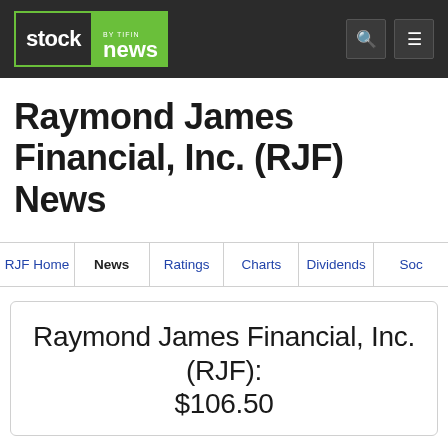[Figure (logo): Stock News by TIFIN logo with search and menu icons in dark header bar]
Raymond James Financial, Inc. (RJF) News
RJF Home | News | Ratings | Charts | Dividends | Soc...
Raymond James Financial, Inc. (RJF): $106.50